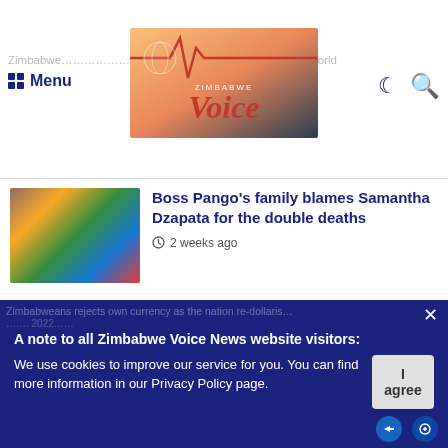Zimbabwe Voice — Menu | Logo | Navigation icons
Boss Pango's family blames Samantha Dzapata for the double deaths — 2 weeks ago
3 easy steps to transfer money internationally — June 16, 2022
Remembering the biggest unclaimed lottery prizes — May 4, 2022
A note to all Zimbabwe Voice News website visitors:
We use cookies to improve our service for you. You can find more information in our Privacy Policy page.